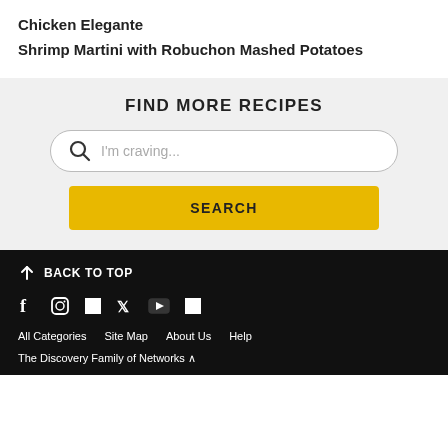Chicken Elegante
Shrimp Martini with Robuchon Mashed Potatoes
FIND MORE RECIPES
[Figure (screenshot): Search bar with magnifying glass icon and placeholder text 'I'm craving...']
[Figure (screenshot): Yellow SEARCH button]
↑ BACK TO TOP
Social media icons: Facebook, Instagram, Pinterest, Twitter, YouTube, and another icon
All Categories   Site Map   About Us   Help
The Discovery Family of Networks ^